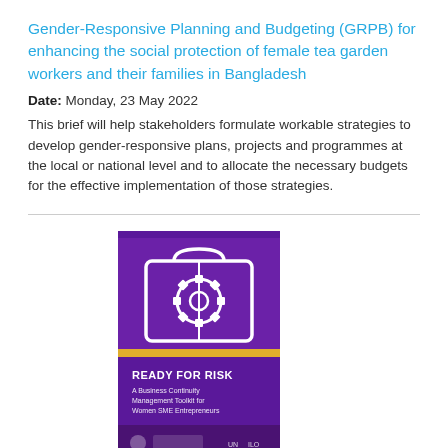Gender-Responsive Planning and Budgeting (GRPB) for enhancing the social protection of female tea garden workers and their families in Bangladesh
Date: Monday, 23 May 2022
This brief will help stakeholders formulate workable strategies to develop gender-responsive plans, projects and programmes at the local or national level and to allocate the necessary budgets for the effective implementation of those strategies.
[Figure (illustration): Cover image of 'Ready for Risk: A Business Continuity Management Toolkit for Women SME Entrepreneurs' — purple background with white line-art icons of a briefcase, gear/cog, and other business symbols, with the title text overlaid.]
Ready for Risk: A Business Continuity Management Toolkit for Women SME Entrepreneurs
Date: Friday, 13 May 2022
The toolkit provides a grounding in risk control and business